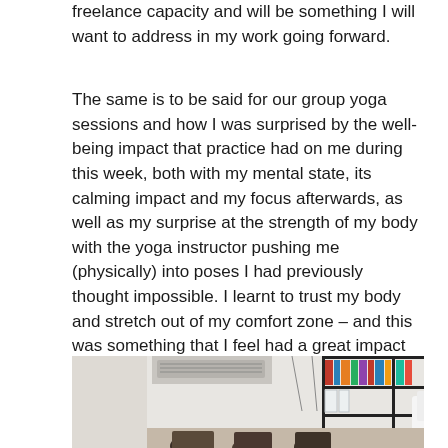freelance capacity and will be something I will want to address in my work going forward.
The same is to be said for our group yoga sessions and how I was surprised by the well-being impact that practice had on me during this week, both with my mental state, its calming impact and my focus afterwards, as well as my surprise at the strength of my body with the yoga instructor pushing me (physically) into poses I had previously thought impossible. I learnt to trust my body and stretch out of my comfort zone – and this was something that I feel had a great impact on my time in Mumbai and I hope continues to do so, I want to proactively keep up yoga.
[Figure (photo): Interior photo of an office or studio space with shelving units, books, air conditioning unit on the wall, and people partially visible at the bottom of the frame.]